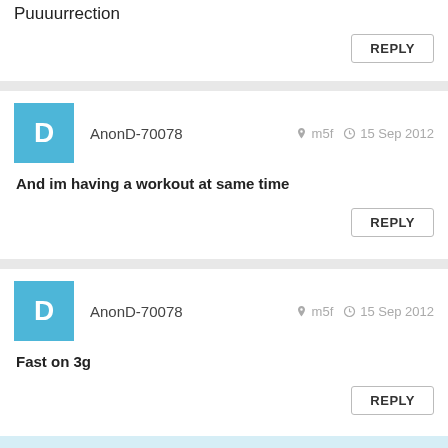Puuuurrection
REPLY
AnonD-70078  m5f  15 Sep 2012
And im having a workout at same time
REPLY
AnonD-70078  m5f  15 Sep 2012
Fast on 3g
REPLY